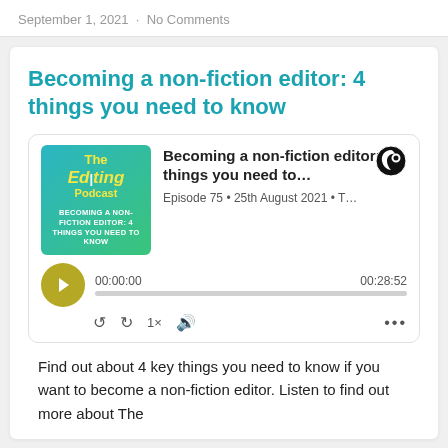September 1, 2021 · No Comments
Becoming a non-fiction editor: 4 things you need to know
[Figure (screenshot): Podcast player widget for 'Becoming a non-fiction editor: 4 things you need to know', Episode 75, 25th August 2021, duration 00:28:52, showing The Editing Podcast thumbnail art with play button and progress bar.]
Find out about 4 key things you need to know if you want to become a non-fiction editor. Listen to find out more about The